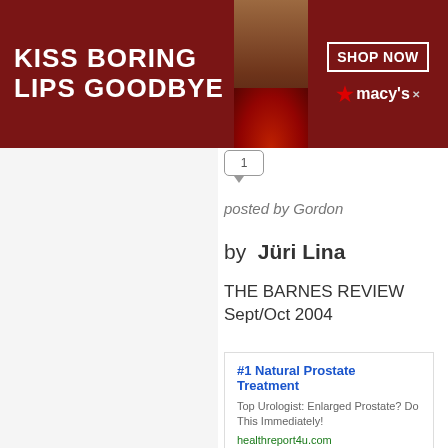[Figure (screenshot): Macy's advertisement banner: 'KISS BORING LIPS GOODBYE' with red lipstick model photo and SHOP NOW button]
1
posted by Gordon
by Jüri Lina
THE BARNES REVIEW Sept/Oct 2004
[Figure (screenshot): Ad: #1 Natural Prostate Treatment - Top Urologist: Enlarged Prostate? Do This Immediately! - healthreport4u.com]
We use cookies to optimize our website and our service.
[Figure (screenshot): Bottom ad: Best Prostate Treatment Method - Top Urologist: Enlarged Prostate? Do This Immediately - healthreport4u.com]